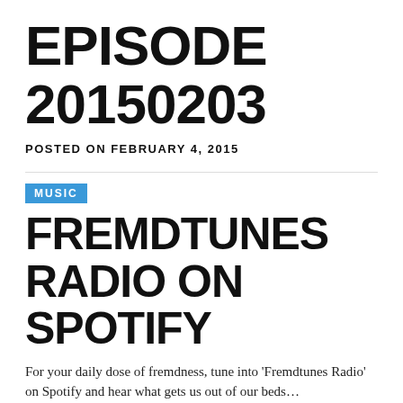EPISODE 20150203
POSTED ON FEBRUARY 4, 2015
MUSIC
FREMDTUNES RADIO ON SPOTIFY
For your daily dose of fremdness, tune into ‘Fremdtunes Radio’ on Spotify and hear what gets us out of our beds…
POSTED ON AUGUST 26, 2013